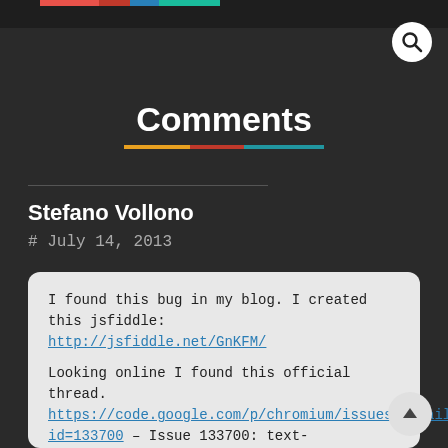Comments
Stefano Vollono
# July 14, 2013
I found this bug in my blog. I created this jsfiddle: http://jsfiddle.net/GnKFM/

Looking online I found this official thread. https://code.google.com/p/chromium/issues/detail?id=133700 – Issue 133700: text-overflow:ellipsis does not handle inline-block subelements correctly. Did you know? Do you know a trick to solve it?